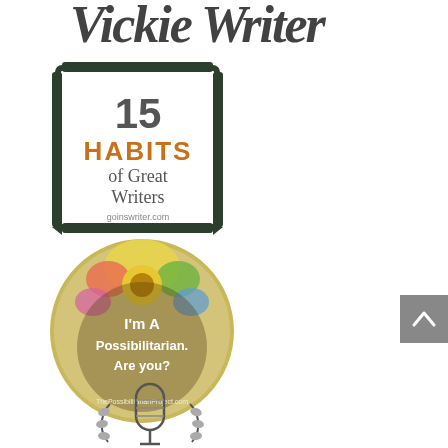[Figure (logo): Decorative script/handwritten style text logo at top of page (partially cropped)]
[Figure (illustration): 15 Habits of Great Writers badge/graphic from goinswriter.com — dark pen frame border with orange and dark text]
[Figure (illustration): Circular badge with floral design: 'I'm A Possibilitarian. Are you?' from ThePossibilitarianProject.com]
[Figure (illustration): Partial microphone icon with laurel wreath at bottom of page (cropped)]